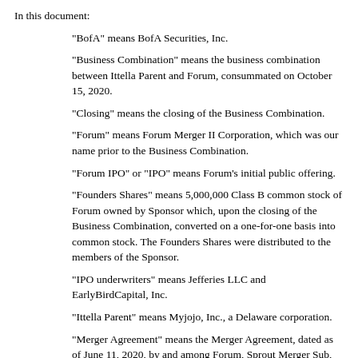In this document:
“BofA” means BofA Securities, Inc.
“Business Combination” means the business combination between Ittella Parent and Forum, consummated on October 15, 2020.
“Closing” means the closing of the Business Combination.
“Forum” means Forum Merger II Corporation, which was our name prior to the Business Combination.
“Forum IPO” or “IPO” means Forum’s initial public offering.
“Founders Shares” means 5,000,000 Class B common stock of Forum owned by Sponsor which, upon the closing of the Business Combination, converted on a one-for-one basis into common stock. The Founders Shares were distributed to the members of the Sponsor.
“IPO underwriters” means Jefferies LLC and EarlyBirdCapital, Inc.
“Ittella Parent” means Myjojo, Inc., a Delaware corporation.
“Merger Agreement” means the Merger Agreement, dated as of June 11, 2020, by and among Forum, Sprout Merger Sub, Inc., a Delaware corporation and wholly owned subsidiary of Forum (“Merger Sub”), Ittella Parent and Salvatore Galletti, in his capacity as the holder representative, as amended by the First Amendment dated August 10, 2020. Copies of the Merger Agreement and First Amendment are available...